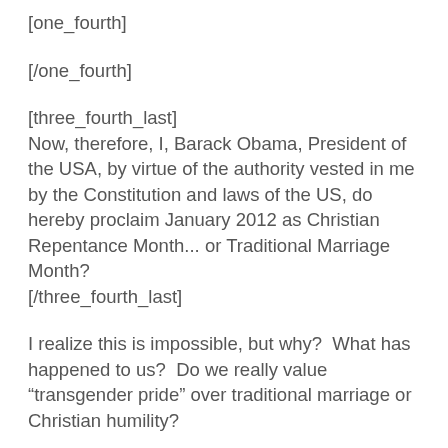[one_fourth]
[/one_fourth]
[three_fourth_last]
Now, therefore, I, Barack Obama, President of the USA, by virtue of the authority vested in me by the Constitution and laws of the US, do hereby proclaim January 2012 as Christian Repentance Month... or Traditional Marriage Month?
[/three_fourth_last]
I realize this is impossible, but why?  What has happened to us?  Do we really value “transgender pride” over traditional marriage or Christian humility?
As a Christian, I have a serious beef with President